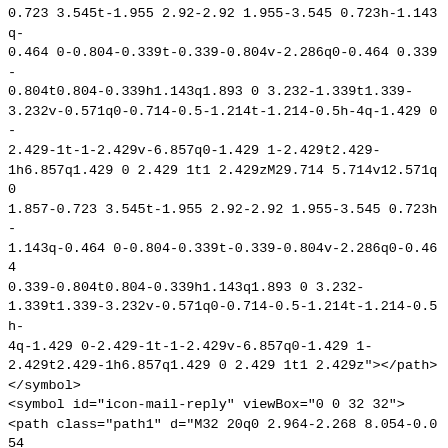0.723 3.545t-1.955 2.92-2.92 1.955-3.545 0.723h-1.143q-0.464 0-0.804-0.339t-0.339-0.804v-2.286q0-0.464 0.339-0.804t0.804-0.339h1.143q1.893 0 3.232-1.339t1.339-3.232v-0.571q0-0.714-0.5-1.214t-1.214-0.5h-4q-1.429 0-2.429-1t-1-2.429v-6.857q0-1.429 1-2.429t2.429-1h6.857q1.429 0 2.429 1t1 2.429zM29.714 5.714v12.571q0 1.857-0.723 3.545t-1.955 2.92-2.92 1.955-3.545 0.723h-1.143q-0.464 0-0.804-0.339t-0.339-0.804v-2.286q0-0.464 0.339-0.804t0.804-0.339h1.143q1.893 0 3.232-1.339t1.339-3.232v-0.571q0-0.714-0.5-1.214t-1.214-0.5h-4q-1.429 0-2.429-1t-1-2.429v-6.857q0-1.429 1-2.429t2.429-1h6.857q1.429 0 2.429 1t1 2.429z"></path>
</symbol>
<symbol id="icon-mail-reply" viewBox="0 0 32 32">
<path class="path1" d="M32 20q0 2.964-2.268 8.054-0.054 0.125-0.188 0.429t-0.241 0.536-0.232 0.393q-0.214 0.304-0.5 0.304-0.268 0-0.42-0.179t-0.152-0.446q0-0.161 0.045-0.473t0.045-0.42q0.089-1.214 0.089-2.196 0-1.804-0.313-3.232t-0.866-2.473-1.429-1.804-1.884-1.241-2.375-0.759-2.75-0.384-3.134-0.107h-4v4.571q0 0.464-0.339 0.804t-0.804 0.339-0.804-0.339l-9.143-9.143q-0.339-0.339-0.339-0.804t0.339-0.80419.143-9.143q0.339-0.339 0.804-0.339t0.804 0.339 0.339 0.804v4.571h4q12.732 0 15.625 7.196 0.946 2.393 0.946 5.946z"></path>
</symbol>
<symbol id="icon-youtube" viewBox="0 0 27 32">
<path class="path1" d="M17.339 22.214v3.768q0 1.196-0.696 1.196-0.411 0-0.804-0.393v-5.375q0.393-0.393 0.804-0.393 0.696 0 0.696 1.196zM23.375 22.232v0.821h-1.607v-0.821q0-1.214 0.804-1.214t0.804 1.214zM6.125